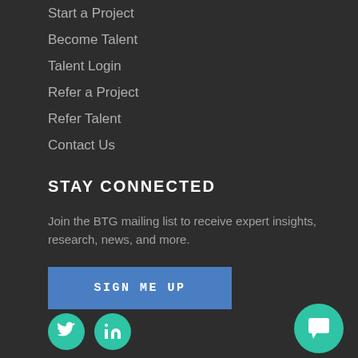Start a Project
Become Talent
Talent Login
Refer a Project
Refer Talent
Contact Us
STAY CONNECTED
Join the BTG mailing list to receive expert insights, research, news, and more.
[Figure (other): Blue 'SIGN ME UP' button for mailing list signup]
[Figure (other): Social media icons: Twitter (bird) and LinkedIn, and a chat bubble icon, all on teal circular backgrounds]